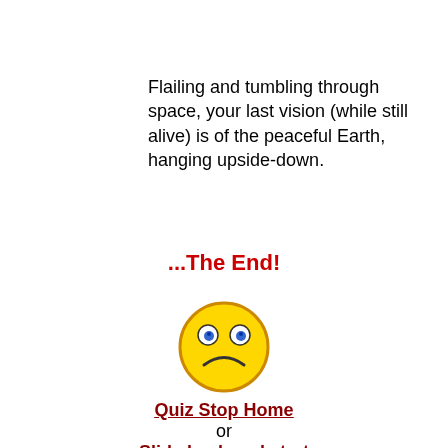Flailing and tumbling through space, your last vision (while still alive) is of the peaceful Earth, hanging upside-down.
...The End!
[Figure (illustration): A yellow sad face emoji / emoticon with blue eyes and a frown]
Quiz Stop Home
or
Slide back and start